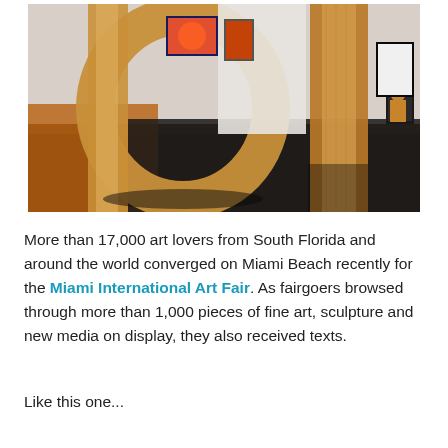[Figure (photo): Interior of an art gallery with large wooden circular/ring sculptures in the foreground, colorful artworks on white walls in the background, including paintings and figures. The floor is wooden/dark.]
More than 17,000 art lovers from South Florida and around the world converged on Miami Beach recently for the Miami International Art Fair. As fairgoers browsed through more than 1,000 pieces of fine art, sculpture and new media on display, they also received texts.
Like this one...